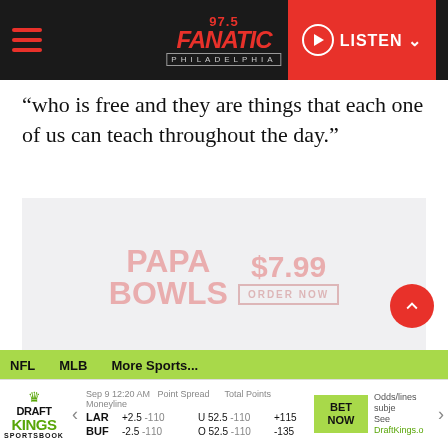[Figure (screenshot): 97.5 The Fanatic Philadelphia radio website header with hamburger menu, logo, and red LISTEN button]
“who is free and they are things that each one of us can teach throughout the day.”
[Figure (photo): Papa Bowls advertisement showing $7.99 price and ORDER NOW button, faded overlay]
[Figure (screenshot): DraftKings Sportsbook betting widget showing LAR vs BUF with spreads, totals, and moneylines for Sep 9 12:20 AM. NFL and MLB sports navigation bar with green background.]